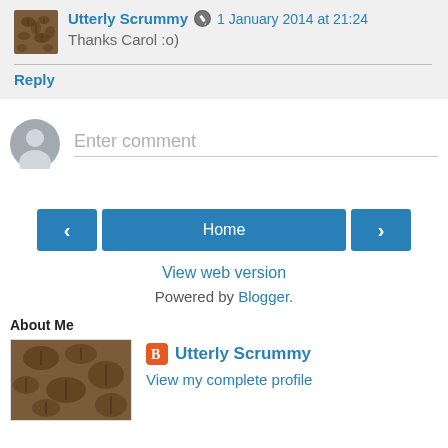Utterly Scrummy  1 January 2014 at 21:24
Thanks Carol :o)
Reply
Enter comment
< Home >
View web version
Powered by Blogger.
About Me
Utterly Scrummy
View my complete profile